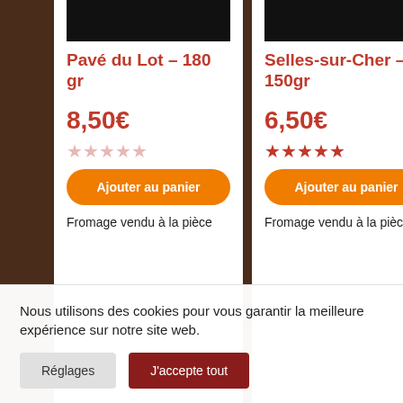Pavé du Lot – 180 gr
8,50€
☆☆☆☆☆
Ajouter au panier
Fromage vendu à la pièce
Selles-sur-Cher – 150gr
6,50€
★★★★★
Ajouter au panier
Fromage vendu à la pièce
Nous utilisons des cookies pour vous garantir la meilleure expérience sur notre site web.
Réglages
J'accepte tout